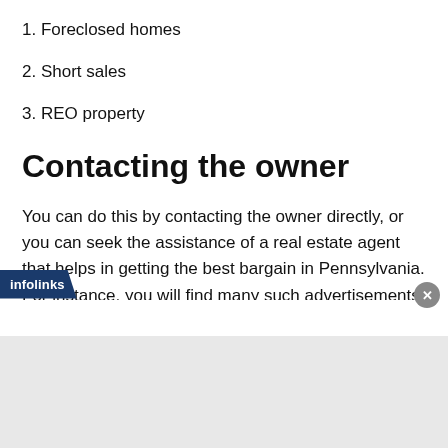1. Foreclosed homes
2. Short sales
3. REO property
Contacting the owner
You can do this by contacting the owner directly, or you can seek the assistance of a real estate agent that helps in getting the best bargain in Pennsylvania. For instance, you will find many such advertisements offline and online quoting stuff like “sell my house fast in Pittsburgh-PA.” Consider